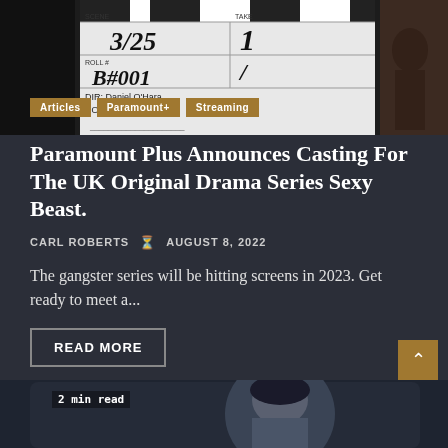[Figure (photo): Film clapperboard showing scene 3/25, roll B#001, DIR: Daniel O'Hara, DOP: Giulio Biccari, with a silhouetted person on the right against a brick wall background]
Articles
Paramount+
Streaming
Paramount Plus Announces Casting For The UK Original Drama Series Sexy Beast.
CARL ROBERTS  ⌛ AUGUST 8, 2022
The gangster series will be hitting screens in 2023. Get ready to meet a...
READ MORE
[Figure (photo): Bottom strip showing a person's face, partially visible, with '2 min read' label in monospace font]